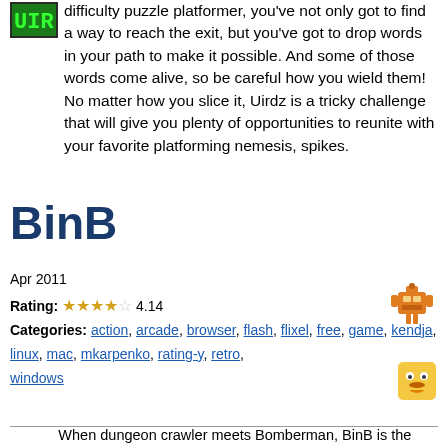difficulty puzzle platformer, you've not only got to find a way to reach the exit, but you've got to drop words in your path to make it possible. And some of those words come alive, so be careful how you wield them! No matter how you slice it, Uirdz is a tricky challenge that will give you plenty of opportunities to reunite with your favorite platforming nemesis, spikes.
BinB
Apr 2011
Rating: 4.14
Categories: action, arcade, browser, flash, flixel, free, game, kendja, linux, mac, mkarpenko, rating-y, retro, windows
When dungeon crawler meets Bomberman, BinB is the result. A simple-looking arcade game at heart, this little release from Maxim Karpenko (a.k.a. Kendja) packs a lot of bombs, a lot of power-ups, and a surprising amount of strategy, especially when you consider it's mostly about blowing things up